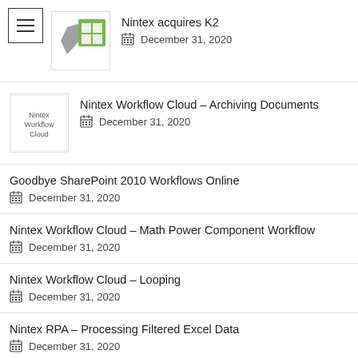Nintex acquires K2
December 31, 2020
Nintex Workflow Cloud – Archiving Documents
December 31, 2020
Goodbye SharePoint 2010 Workflows Online
December 31, 2020
Nintex Workflow Cloud – Math Power Component Workflow
December 31, 2020
Nintex Workflow Cloud – Looping
December 31, 2020
Nintex RPA – Processing Filtered Excel Data
December 31, 2020